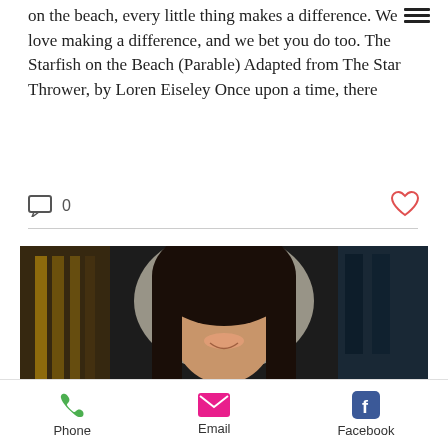on the beach, every little thing makes a difference. We love making a difference, and we bet you do too. The Starfish on the Beach (Parable) Adapted from The Star Thrower, by Loren Eiseley Once upon a time, there
[Figure (photo): Portrait photo of a smiling woman with dark hair, sitting inside what appears to be a train or subway car with motion-blurred surroundings and bright light behind her.]
Phone   Email   Facebook